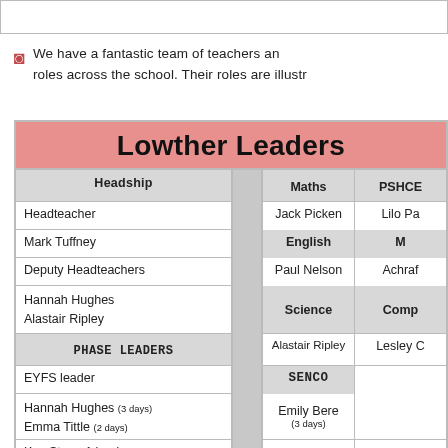We have a fantastic team of teachers and staff with specific roles across the school. Their roles are illustrated below:
| Lowther Leaders |  |  |  |
| --- | --- | --- | --- |
| Headship |  | Maths | PSHCE |
| Headteacher |  | Jack Picken | Lilo Pa... |
| Mark Tuffney |  | English | M... |
| Deputy Headteachers |  | Paul Nelson | Achraf... |
| Hannah Hughes
Alastair Ripley |  | Science | Comp... |
| PHASE LEADERS |  | Alastair Ripley | Lesley C... |
| EYFS leader |  | SENCO |  |
| Hannah Hughes (3 days)
Emma Tittle (2 days) |  | Emily Bere
(3 days) |  |
| Key Stage 1 leader |  |  |  |
| Abbie Mason |  |  |  |